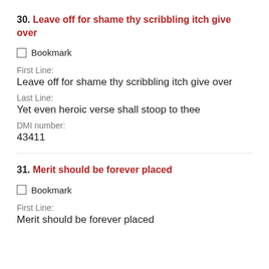30. Leave off for shame thy scribbling itch give over
Bookmark
First Line:
Leave off for shame thy scribbling itch give over
Last Line:
Yet even heroic verse shall stoop to thee
DMI number:
43411
31. Merit should be forever placed
Bookmark
First Line:
Merit should be forever placed